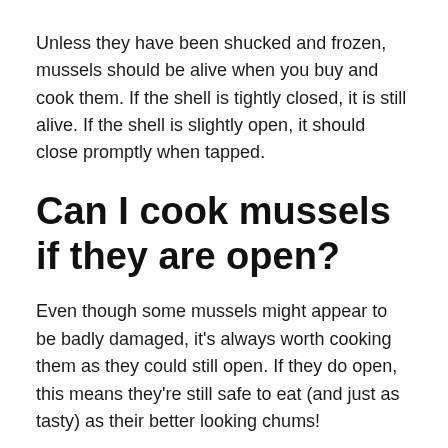Unless they have been shucked and frozen, mussels should be alive when you buy and cook them. If the shell is tightly closed, it is still alive. If the shell is slightly open, it should close promptly when tapped.
Can I cook mussels if they are open?
Even though some mussels might appear to be badly damaged, it’s always worth cooking them as they could still open. If they do open, this means they’re still safe to eat (and just as tasty) as their better looking chums!
When...